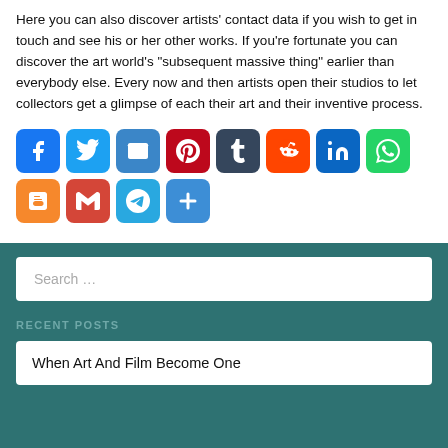Here you can also discover artists' contact data if you wish to get in touch and see his or her other works. If you're fortunate you can discover the art world's "subsequent massive thing" earlier than everybody else. Every now and then artists open their studios to let collectors get a glimpse of each their art and their inventive process.
[Figure (infographic): Row of social media sharing icon buttons: Facebook, Twitter, Email, Pinterest, Tumblr, Reddit, LinkedIn, WhatsApp, Blogger, Gmail, Telegram, Share/More]
Search ...
RECENT POSTS
When Art And Film Become One